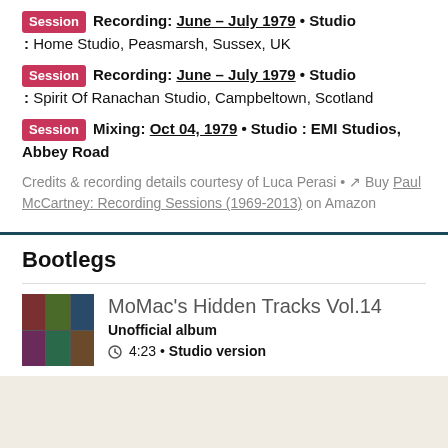Session Recording: June - July 1979 • Studio: Home Studio, Peasmarsh, Sussex, UK
Session Recording: June - July 1979 • Studio: Spirit Of Ranachan Studio, Campbeltown, Scotland
Session Mixing: Oct 04, 1979 • Studio: EMI Studios, Abbey Road
Credits & recording details courtesy of Luca Perasi • Buy Paul McCartney: Recording Sessions (1969-2013) on Amazon
Bootlegs
MoMac's Hidden Tracks Vol.14
Unofficial album
4:23 • Studio version